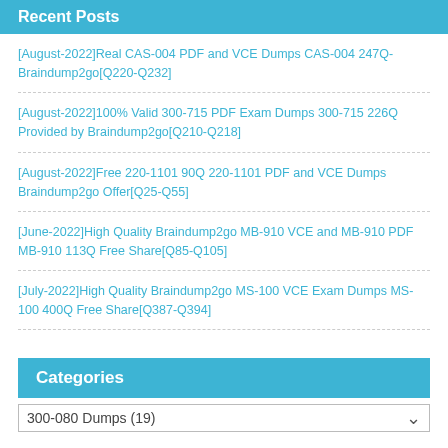Recent Posts
[August-2022]Real CAS-004 PDF and VCE Dumps CAS-004 247Q-Braindump2go[Q220-Q232]
[August-2022]100% Valid 300-715 PDF Exam Dumps 300-715 226Q Provided by Braindump2go[Q210-Q218]
[August-2022]Free 220-1101 90Q 220-1101 PDF and VCE Dumps Braindump2go Offer[Q25-Q55]
[June-2022]High Quality Braindump2go MB-910 VCE and MB-910 PDF MB-910 113Q Free Share[Q85-Q105]
[July-2022]High Quality Braindump2go MS-100 VCE Exam Dumps MS-100 400Q Free Share[Q387-Q394]
Categories
300-080 Dumps  (19)